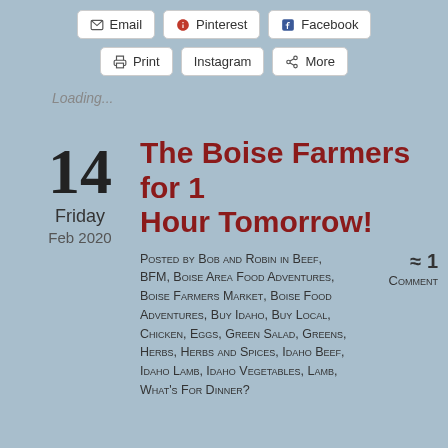[Figure (screenshot): Row of social share buttons: Email, Pinterest, Facebook]
[Figure (screenshot): Row of social share buttons: Print, Instagram, More]
Loading...
14
Friday
Feb 2020
The Boise Farmers for 1 Hour Tomorrow!
Posted by Bob and Robin in Beef, BFM, Boise Area Food Adventures, Boise Farmers Market, Boise Food Adventures, Buy Idaho, Buy Local, Chicken, Eggs, Green Salad, Greens, Herbs, Herbs and Spices, Idaho Beef, Idaho Lamb, Idaho Vegetables, Lamb, What's For Dinner?
≈ 1
Comment